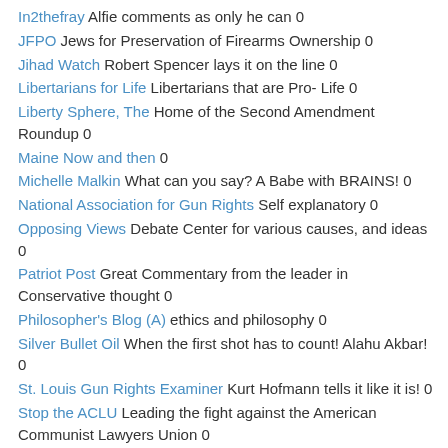In2thefray Alfie comments as only he can 0
JFPO Jews for Preservation of Firearms Ownership 0
Jihad Watch Robert Spencer lays it on the line 0
Libertarians for Life Libertarians that are Pro- Life 0
Liberty Sphere, The Home of the Second Amendment Roundup 0
Maine Now and then 0
Michelle Malkin What can you say? A Babe with BRAINS! 0
National Association for Gun Rights Self explanatory 0
Opposing Views Debate Center for various causes, and ideas 0
Patriot Post Great Commentary from the leader in Conservative thought 0
Philosopher's Blog (A) ethics and philosophy 0
Silver Bullet Oil When the first shot has to count! Alahu Akbar! 0
St. Louis Gun Rights Examiner Kurt Hofmann tells it like it is! 0
Stop the ACLU Leading the fight against the American Communist Lawyers Union 0
Texas Fred's Outspoken non PC Commentary 0
The Wisdom Warrior Philosophy of warriorhood, and life in general. 0
Western Rifle Shooters Association Great People, great resources 0
WordPress.com 0